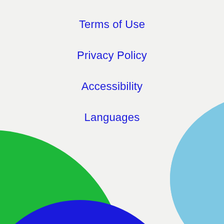Terms of Use
Privacy Policy
Accessibility
Languages
[Figure (illustration): Decorative abstract graphic with overlapping circles: a large green circle on the bottom-left, a large dark blue circle partially behind the green one, and a light blue teardrop/circle shape in the center-right bottom area. The shapes overlap creating blended intersection zones.]